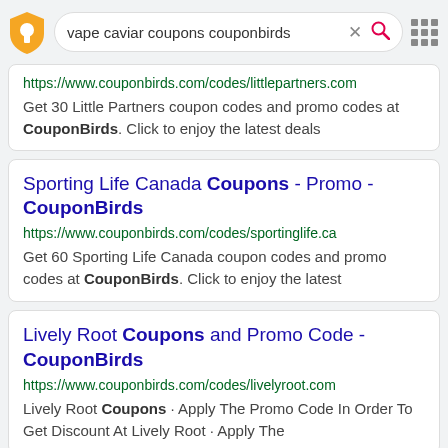vape caviar coupons couponbirds
https://www.couponbirds.com/codes/littlepartners.com
Get 30 Little Partners coupon codes and promo codes at CouponBirds. Click to enjoy the latest deals
Sporting Life Canada Coupons - Promo - CouponBirds
https://www.couponbirds.com/codes/sportinglife.ca
Get 60 Sporting Life Canada coupon codes and promo codes at CouponBirds. Click to enjoy the latest
Lively Root Coupons and Promo Code - CouponBirds
https://www.couponbirds.com/codes/livelyroot.com
Lively Root Coupons · Apply The Promo Code In Order To Get Discount At Lively Root · Apply The